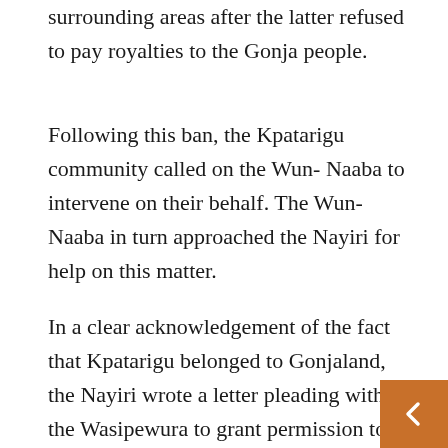surrounding areas after the latter refused to pay royalties to the Gonja people.
Following this ban, the Kpatarigu community called on the Wun- Naaba to intervene on their behalf. The Wun- Naaba in turn approached the Nayiri for help on this matter.
In a clear acknowledgement of the fact that Kpatarigu belonged to Gonjaland, the Nayiri wrote a letter pleading with the Wasipewura to grant permission to the Kpatarigu community to continue farming on his lands. The Nayiri added in the letter that the Kpatarigu community will resume payment of the customary royalties to